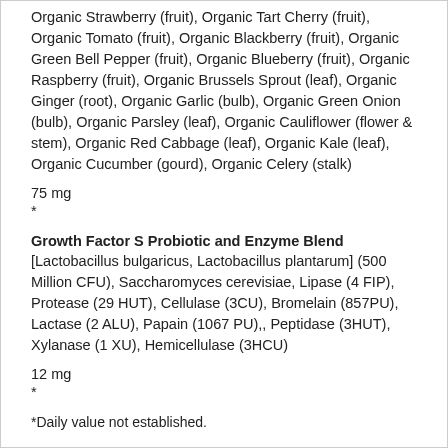Organic Strawberry (fruit), Organic Tart Cherry (fruit), Organic Tomato (fruit), Organic Blackberry (fruit), Organic Green Bell Pepper (fruit), Organic Blueberry (fruit), Organic Raspberry (fruit), Organic Brussels Sprout (leaf), Organic Ginger (root), Organic Garlic (bulb), Organic Green Onion (bulb), Organic Parsley (leaf), Organic Cauliflower (flower & stem), Organic Red Cabbage (leaf), Organic Kale (leaf), Organic Cucumber (gourd), Organic Celery (stalk)
75 mg
*
Growth Factor S Probiotic and Enzyme Blend
[Lactobacillus bulgaricus, Lactobacillus plantarum] (500 Million CFU), Saccharomyces cerevisiae, Lipase (4 FIP), Protease (29 HUT), Cellulase (3CU), Bromelain (857PU), Lactase (2 ALU), Papain (1067 PU),, Peptidase (3HUT), Xylanase (1 XU), Hemicellulase (3HCU)
12 mg
*
*Daily value not established.